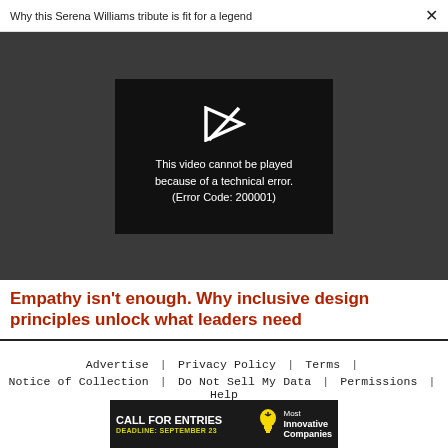Why this Serena Williams tribute is fit for a legend  ×
[Figure (screenshot): Video player showing error message: 'This video cannot be played because of a technical error. (Error Code: 200001)' with a play icon with a slash through it, on a dark background.]
Empathy isn't enough. Why inclusive design principles unlock what leaders need
Advertise | Privacy Policy | Terms |
Notice of Collection | Do Not Sell My Data | Permissions | Help
[Figure (infographic): Advertisement banner: 'CALL FOR ENTRIES DEADLINE: SEPTEMBER 23' with a lightbulb icon and text 'Most Innovative Companies']